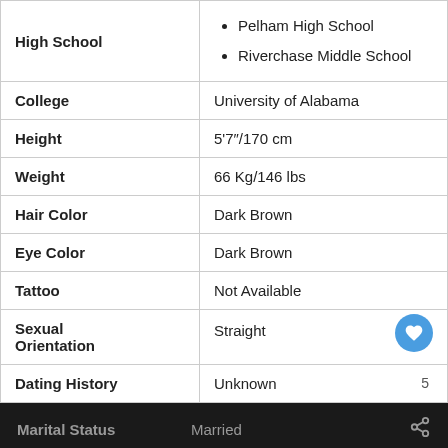| Field | Value |
| --- | --- |
| High School | Pelham High School
Riverchase Middle School |
| College | University of Alabama |
| Height | 5'7"/170 cm |
| Weight | 66 Kg/146 lbs |
| Hair Color | Dark Brown |
| Eye Color | Dark Brown |
| Tattoo | Not Available |
| Sexual Orientation | Straight |
| Dating History | Unknown |
| Marital Status | Married |